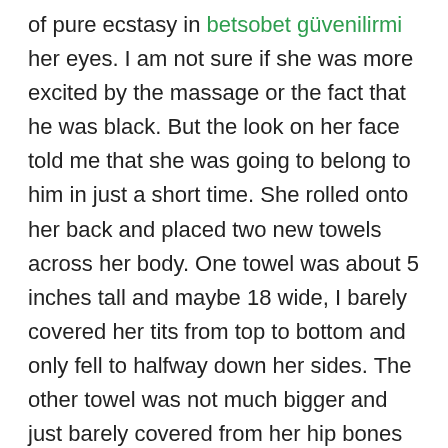of pure ecstasy in betsobet güvenilirmi her eyes. I am not sure if she was more excited by the massage or the fact that he was black. But the look on her face told me that she was going to belong to him in just a short time. She rolled onto her back and placed two new towels across her body. One towel was about 5 inches tall and maybe 18 wide, I barely covered her tits from top to bottom and only fell to halfway down her sides. The other towel was not much bigger and just barely covered from her hip bones to just below her crotch. This left her tummy exposed which looked very sexy and I'm sure had a good purpose. As she re-adjusted I noticed a very flush appearance to her face and some other body changes. He boobs and nipples were swollen with excitement and she was breathing deeper and heavier than normal. Her pussy was juicing and he her smooth vulva skin was pouting and ready to be touched again. Her inner labia lips had parted slightly and I had a good view of her clit which is usually hidden; it was sticking